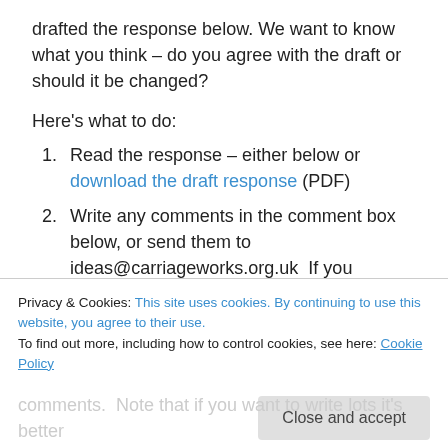drafted the response below. We want to know what you think – do you agree with the draft or should it be changed?
Here's what to do:
Read the response – either below or download the draft response (PDF)
Write any comments in the comment box below, or send them to ideas@carriageworks.org.uk  If you disagree with the draft it would be especially useful to know why.  Please send comments by 28 September
Privacy & Cookies: This site uses cookies. By continuing to use this website, you agree to their use. To find out more, including how to control cookies, see here: Cookie Policy
comments.  Note that if you want to write lots it's better